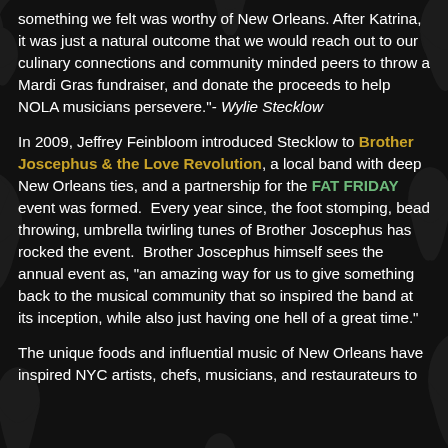something we felt was worthy of New Orleans. After Katrina, it was just a natural outcome that we would reach out to our culinary connections and community minded peers to throw a Mardi Gras fundraiser, and donate the proceeds to help NOLA musicians persevere."- Wylie Stecklow
In 2009, Jeffrey Feinbloom introduced Stecklow to Brother Joscephus & the Love Revolution, a local band with deep New Orleans ties, and a partnership for the FAT FRIDAY event was formed. Every year since, the foot stomping, bead throwing, umbrella twirling tunes of Brother Joscephus has rocked the event. Brother Joscephus himself sees the annual event as, "an amazing way for us to give something back to the musical community that so inspired the band at its inception, while also just having one hell of a great time."
The unique foods and influential music of New Orleans have inspired NYC artists, chefs, musicians, and restaurateurs to...